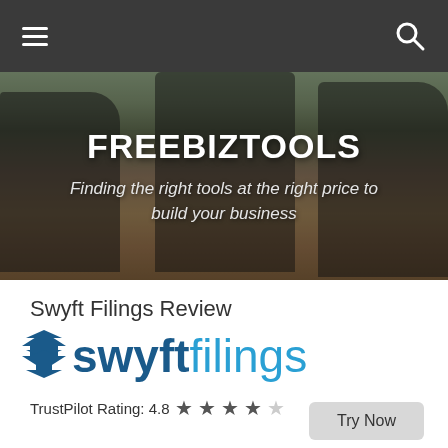FREEBIZTOOLS - Finding the right tools at the right price to build your business
[Figure (photo): Hero banner with three succulent plants in black square pots on a wooden table, overlaid with site title and tagline]
FREEBIZTOOLS
Finding the right tools at the right price to build your business
Swyft Filings Review
[Figure (logo): Swyft Filings logo with S icon, bold dark blue 'swyft' and light blue 'filings']
TrustPilot Rating: 4.8 ★ ★ ★ ★ ☆